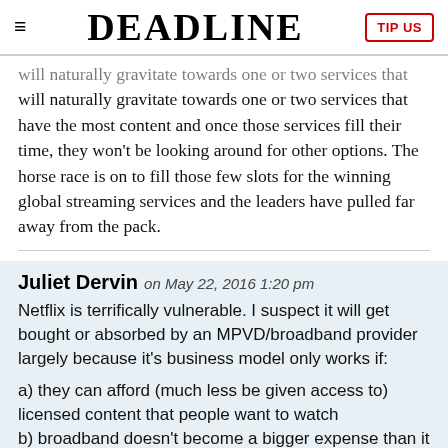DEADLINE
will naturally gravitate towards one or two services that have the most content and once those services fill their time, they won't be looking around for other options. The horse race is on to fill those few slots for the winning global streaming services and the leaders have pulled far away from the pack.
Juliet Dervin on May 22, 2016 1:20 pm
Netflix is terrifically vulnerable. I suspect it will get bought or absorbed by an MPVD/broadband provider largely because it's business model only works if:
a) they can afford (much less be given access to) licensed content that people want to watch
b) broadband doesn't become a bigger expense than it already is (much less block them, looking at you,